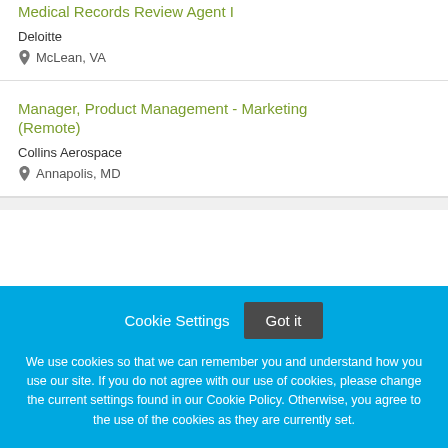Medical Records Review Agent I
Deloitte
McLean, VA
Manager, Product Management - Marketing (Remote)
Collins Aerospace
Annapolis, MD
Cookie Settings
Got it
We use cookies so that we can remember you and understand how you use our site. If you do not agree with our use of cookies, please change the current settings found in our Cookie Policy. Otherwise, you agree to the use of the cookies as they are currently set.